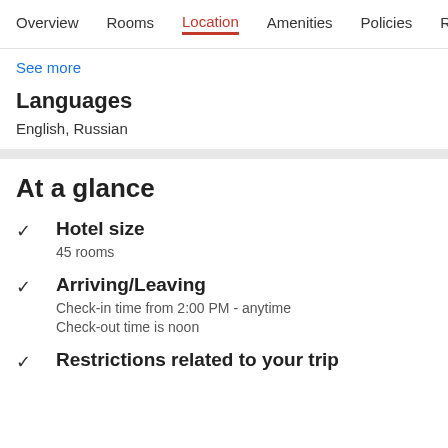Overview  Rooms  Location  Amenities  Policies  Reviews
See more
Languages
English, Russian
At a glance
Hotel size
45 rooms
Arriving/Leaving
Check-in time from 2:00 PM - anytime
Check-out time is noon
Restrictions related to your trip